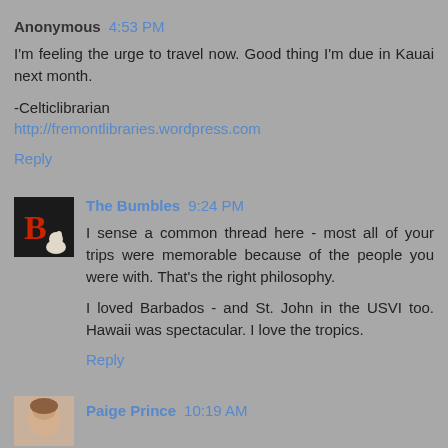Anonymous 4:53 PM
I'm feeling the urge to travel now. Good thing I'm due in Kauai next month.

-Celticlibrarian
http://fremontlibraries.wordpress.com
Reply
The Bumbles 9:24 PM
I sense a common thread here - most all of your trips were memorable because of the people you were with. That's the right philosophy.

I loved Barbados - and St. John in the USVI too. Hawaii was spectacular. I love the tropics.
Reply
Paige Prince 10:19 AM